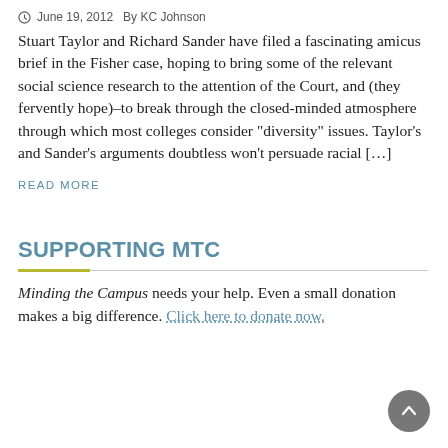June 19, 2012   By KC Johnson
Stuart Taylor and Richard Sander have filed a fascinating amicus brief in the Fisher case, hoping to bring some of the relevant social science research to the attention of the Court, and (they fervently hope)–to break through the closed-minded atmosphere through which most colleges consider “diversity” issues. Taylor’s and Sander’s arguments doubtless won’t persuade racial […]
READ MORE
SUPPORTING MTC
Minding the Campus needs your help. Even a small donation makes a big difference. Click here to donate now.